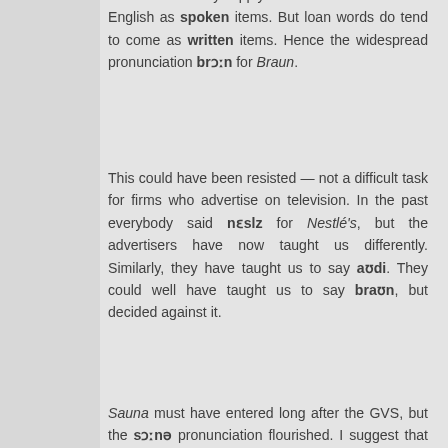That would only apply to words that entered English as spoken items. But loan words do tend to come as written items. Hence the widespread pronunciation brɔːn for Braun.
This could have been resisted — not a difficult task for firms who advertise on television. In the past everybody said nɛslz for Nestlé's, but the advertisers have now taught us differently. Similarly, they have taught us to say aʊdi. They could well have taught us to say braʊn, but decided against it.
Sauna must have entered long after the GVS, but the sɔːnə pronunciation flourished. I suggest that this is because far more people read about a sauna than used or ever saw one.
Ellen Kozisek 21 September 2012 at 15:14
How long ago was that true for Nestlé? I've never in my 40-some years heard the nɛsl/nɛslz